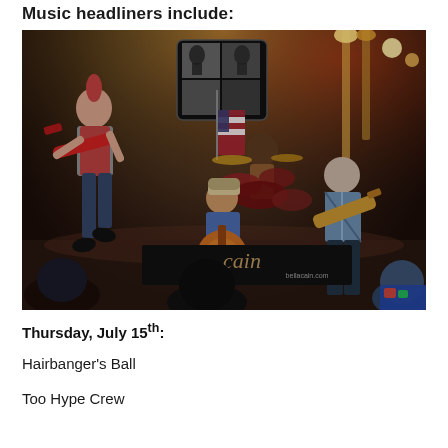Music headliners include:
[Figure (photo): Concert photo showing a live band performance on stage with colorful lighting. Musicians playing electric and acoustic guitars, drummer in background, crowd in foreground. A banner reading 'cain' is visible on stage.]
Thursday, July 15th:
Hairbanger's Ball
Too Hype Crew